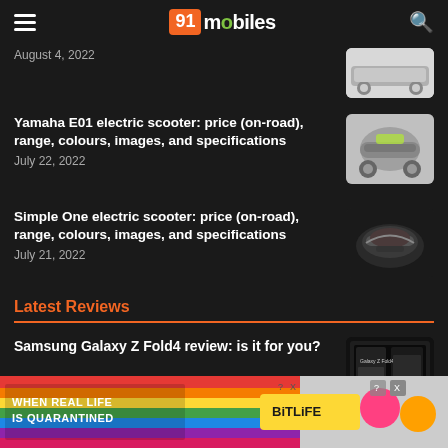91mobiles
August 4, 2022
Yamaha E01 electric scooter: price (on-road), range, colours, images, and specifications
July 22, 2022
Simple One electric scooter: price (on-road), range, colours, images, and specifications
July 21, 2022
Latest Reviews
Samsung Galaxy Z Fold4 review: is it for you?
[Figure (screenshot): Advertisement banner: BitLife game ad with rainbow background, emoji and text 'WHEN REAL LIFE IS QUARANTINED - BitLife']